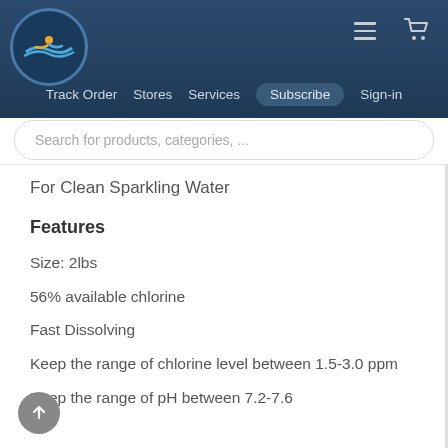[Figure (logo): My Pool Yard circular logo with swimmer and wave on dark blue background]
Track Order   Stores   Services   Subscribe   Sign-in
Search for products, categories, ...
For Clean Sparkling Water
Features
Size: 2lbs
56% available chlorine
Fast Dissolving
Keep the range of chlorine level between 1.5-3.0 ppm
Keep the range of pH between 7.2-7.6